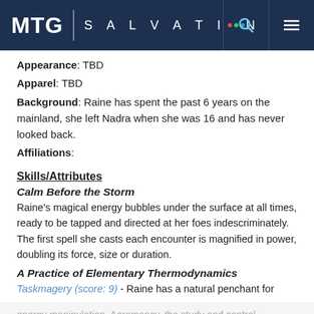MTG SALVATION
Appearance: TBD
Apparel: TBD
Background: Raine has spent the past 6 years on the mainland, she left Nadra when she was 16 and has never looked back.
Affiliations:
Skills/Attributes
Calm Before the Storm
Raine's magical energy bubbles under the surface at all times, ready to be tapped and directed at her foes indescriminately. The first spell she casts each encounter is magnified in power, doubling its force, size or duration.
A Practice of Elementary Thermodynamics
Taskmagery (score: 9) - Raine has a natural penchant for energy manipulation. Aeromancy, the study and control of the atmosphere, entropic discharge, pyrokinesis; she